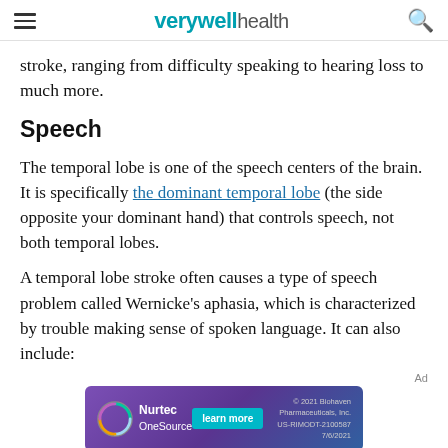verywell health
stroke, ranging from difficulty speaking to hearing loss to much more.
Speech
The temporal lobe is one of the speech centers of the brain. It is specifically the dominant temporal lobe (the side opposite your dominant hand) that controls speech, not both temporal lobes.
A temporal lobe stroke often causes a type of speech problem called Wernicke's aphasia, which is characterized by trouble making sense of spoken language. It can also include:
[Figure (other): Nurtec OneSource advertisement banner with teal learn more button and purple gradient background. Copyright 2021 Biohaven Pharmaceuticals, Inc. US-RIMODT-2100587 7/6/2021]